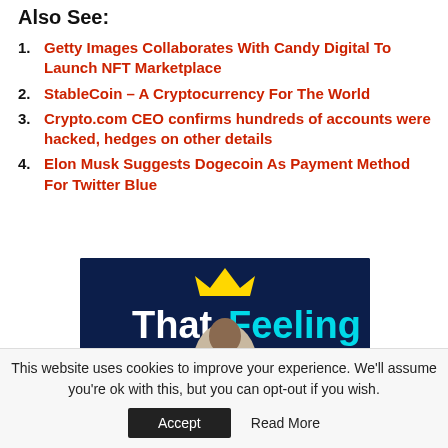Also See:
Getty Images Collaborates With Candy Digital To Launch NFT Marketplace
StableCoin – A Cryptocurrency For The World
Crypto.com CEO confirms hundreds of accounts were hacked, hedges on other details
Elon Musk Suggests Dogecoin As Payment Method For Twitter Blue
[Figure (photo): BetKing advertisement banner with 'That Feeling' text in white and cyan on dark blue background, a person in white hoodie, yellow crown graphic, and 'That's BetKing' text at the bottom]
This website uses cookies to improve your experience. We'll assume you're ok with this, but you can opt-out if you wish.
Accept    Read More